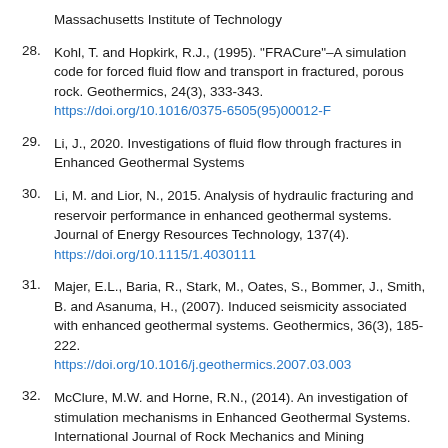Massachusetts Institute of Technology
28. Kohl, T. and Hopkirk, R.J., (1995). "FRACure"–A simulation code for forced fluid flow and transport in fractured, porous rock. Geothermics, 24(3), 333-343. https://doi.org/10.1016/0375-6505(95)00012-F
29. Li, J., 2020. Investigations of fluid flow through fractures in Enhanced Geothermal Systems
30. Li, M. and Lior, N., 2015. Analysis of hydraulic fracturing and reservoir performance in enhanced geothermal systems. Journal of Energy Resources Technology, 137(4). https://doi.org/10.1115/1.4030111
31. Majer, E.L., Baria, R., Stark, M., Oates, S., Bommer, J., Smith, B. and Asanuma, H., (2007). Induced seismicity associated with enhanced geothermal systems. Geothermics, 36(3), 185-222. https://doi.org/10.1016/j.geothermics.2007.03.003
32. McClure, M.W. and Horne, R.N., (2014). An investigation of stimulation mechanisms in Enhanced Geothermal Systems. International Journal of Rock Mechanics and Mining